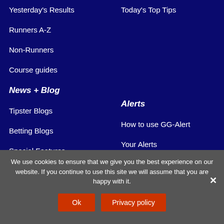Yesterday's Results
Today's Top Tips
Runners A-Z
Non-Runners
Course guides
News + Blog
Alerts
Tipster Blogs
How to use GG-Alert
Betting Blogs
Your Alerts
Special Features
Other Sport Offers
We use cookies to ensure that we give you the best experience on our website. If you continue to use this site we will assume that you are happy with it.
Ok
Privacy policy